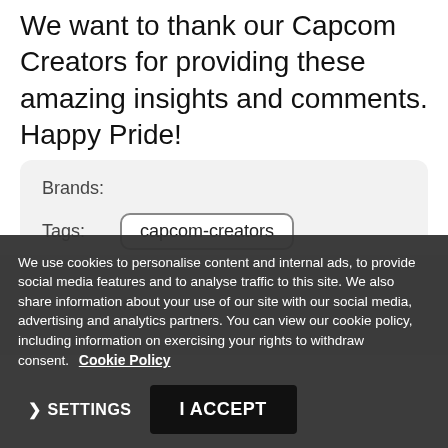We want to thank our Capcom Creators for providing these amazing insights and comments. Happy Pride!
Brands:
Tags: capcom-creators
We use cookies to personalise content and internal ads, to provide social media features and to analyse traffic to this site. We also share information about your use of our site with our social media, advertising and analytics partners. You can view our cookie policy, including information on exercising your rights to withdraw consent. Cookie Policy
❯ SETTINGS
I ACCEPT